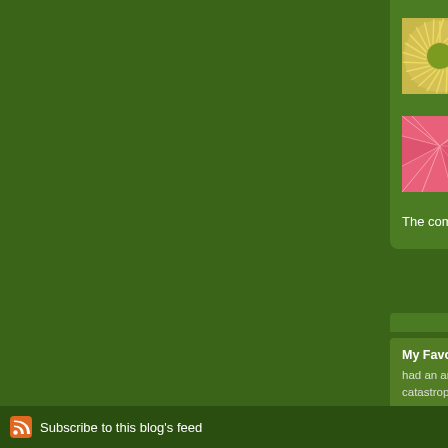[Figure (screenshot): Blog website screenshot with dark green background, showing a right sidebar partially visible. The sidebar contains two thumbnail images: one with a yellow-green sunburst pattern and one with a pink geometric pattern. Text fragments beside each thumbnail are cut off. Below the thumbnails is a 'The comments to t...' line and a post preview box titled 'My Favorite Medit...' with body text about anxious person catastrophizing. The footer shows an RSS icon and 'Subscribe to this blog's feed' text on a dark green bar.]
I lik
Wh
The comments to t
P
My Favorite Medit
had an anxious per catastrophizing: my
Subscribe to this blog's feed